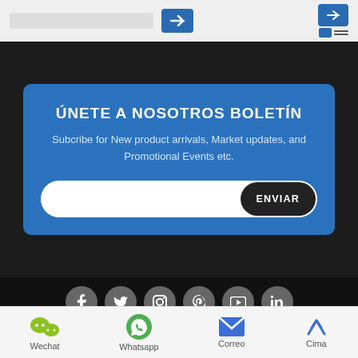[Figure (screenshot): Top navigation bar with forward arrow buttons and menu icon on gray background]
ÚNETE A NOSOTROS BOLETÍN
Subcribe for New product arrivals, Market updates, and Promotional Events etc.
[Figure (screenshot): Email subscription form with white input field and dark ENVIAR (Send) button]
[Figure (screenshot): Social media icons row: Facebook, Twitter, Instagram, Pinterest, YouTube, LinkedIn - all gray circular buttons]
Copyright © Yueqing Quansheng Electric Co., Ltd. Reservados todos los derechos | Mapa del sitio | Apoyo técnico: REANOD®
[Figure (screenshot): Bottom navigation bar with Wechat, Whatsapp, Correo, Cima icons and labels]